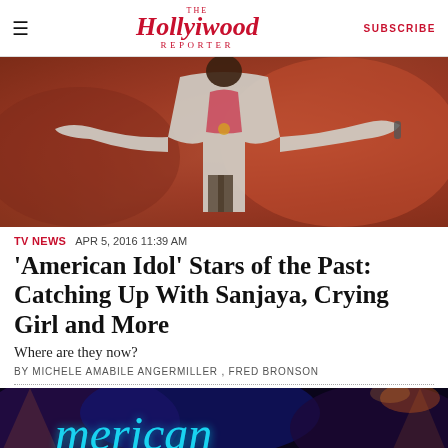The Hollywood Reporter | SUBSCRIBE
[Figure (photo): Performer on stage with arms outstretched, wearing a light jacket, standing against a warm reddish-brown stage background]
TV NEWS  APR 5, 2016 11:39 AM
'American Idol' Stars of the Past: Catching Up With Sanjaya, Crying Girl and More
Where are they now?
BY MICHELE AMABILE ANGERMILLER , FRED BRONSON
[Figure (photo): American Idol stage logo in glowing blue neon letters against a dark purple/blue background with stage lighting]